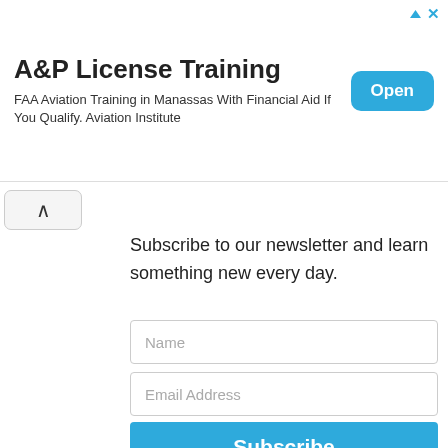[Figure (screenshot): Advertisement banner for A&P License Training. Title: 'A&P License Training', subtitle: 'FAA Aviation Training in Manassas With Financial Aid If You Qualify. Aviation Institute'. Blue 'Open' button on the right. Close/arrow icons at top right.]
Subscribe to our newsletter and learn something new every day.
Name
Email Address
Subscribe
Trending
[Figure (photo): Partial photo thumbnail strip at the bottom of the page showing hands/objects on a wooden surface.]